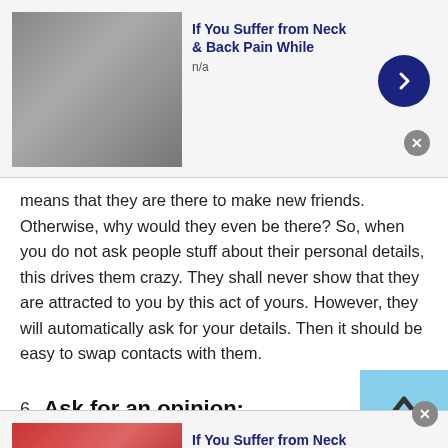[Figure (screenshot): Top advertisement banner: 'If You Suffer from Neck & Back Pain While' with image of older man, n/a subtitle, blue arrow button, and gray close button]
means that they are there to make new friends. Otherwise, why would they even be there? So, when you do not ask people stuff about their personal details, this drives them crazy. They shall never show that they are attracted to you by this act of yours. However, they will automatically ask for your details. Then it should be easy to swap contacts with them.
6. Ask for an opinion:
[Figure (screenshot): Bottom advertisement banner: 'If You Suffer from Neck & Back Pain While' with image of older woman in red, n/a subtitle, blue arrow button, and gray close button]